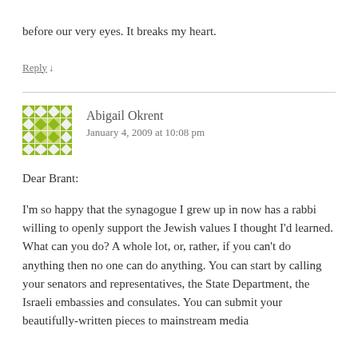before our very eyes. It breaks my heart.
Reply ↓
Abigail Okrent
January 4, 2009 at 10:08 pm
Dear Brant:
I'm so happy that the synagogue I grew up in now has a rabbi willing to openly support the Jewish values I thought I'd learned.
What can you do? A whole lot, or, rather, if you can't do anything then no one can do anything. You can start by calling your senators and representatives, the State Department, the Israeli embassies and consulates. You can submit your beautifully-written pieces to mainstream media